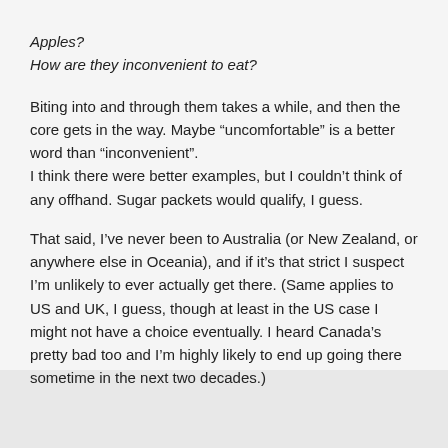Apples?
How are they inconvenient to eat?
Biting into and through them takes a while, and then the core gets in the way. Maybe “uncomfortable” is a better word than “inconvenient”.
I think there were better examples, but I couldn’t think of any offhand. Sugar packets would qualify, I guess.
That said, I’ve never been to Australia (or New Zealand, or anywhere else in Oceania), and if it’s that strict I suspect I’m unlikely to ever actually get there. (Same applies to US and UK, I guess, though at least in the US case I might not have a choice eventually. I heard Canada’s pretty bad too and I’m highly likely to end up going there sometime in the next two decades.)